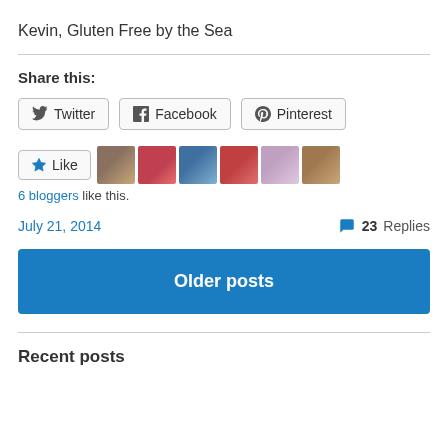Kevin, Gluten Free by the Sea
Share this:
Twitter
Facebook
Pinterest
Like
6 bloggers like this.
July 21, 2014  23 Replies
Older posts
Recent posts